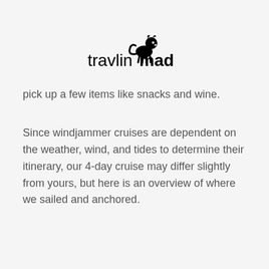[Figure (logo): Travlin Mad logo with stylized animal silhouette above the text]
pick up a few items like snacks and wine.
Since windjammer cruises are dependent on the weather, wind, and tides to determine their itinerary, our 4-day cruise may differ slightly from yours, but here is an overview of where we sailed and anchored.